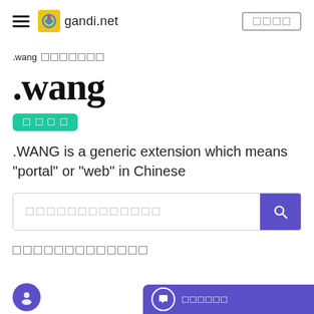gandi.net — navigation header with logo and menu button
.wang 網路域名
.wang
網路域名
.WANG is a generic extension which means "portal" or "web" in Chinese
搜尋您想要的域名
網路域名相關資訊
[Figure (other): Purple chat support widget at bottom right, with chat bubble icon and Chinese text label]